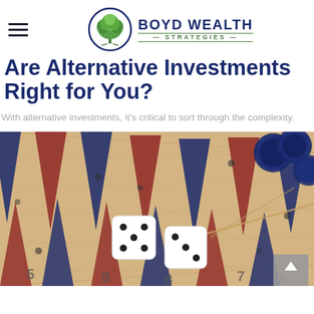Boyd Wealth Strategies
Are Alternative Investments Right for You?
With alternative investments, it's critical to sort through the complexity.
[Figure (photo): Close-up photograph of a backgammon board with two white dice showing, wooden triangular points in blue and red/maroon colors, dark blue checker pieces visible in the top right corner.]